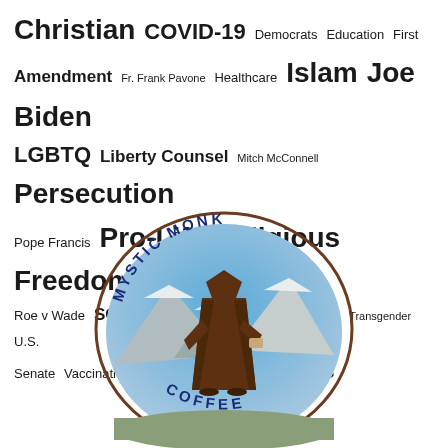[Figure (infographic): A tag cloud with religious and political topics including Christian, COVID-19, Democrats, Education First, Amendment, Fr. Frank Pavone, Healthcare, Islam, Joe Biden, LGBTQ, Liberty Counsel, Mitch McConnell, Persecution, Pope Francis, Pro-Life, Religious Freedom, Roe v Wade, SCOTUS, Supreme Court, Taliban, Transgender, U.S. Senate, Vaccination Mandates, Vaccinations. Below the tag cloud is the Mystic Monk Coffee logo: an oval with a monk in a brown robe holding a cup, standing in front of mountains, with 'MYSTIC MONK COFFEE' text around the oval.]